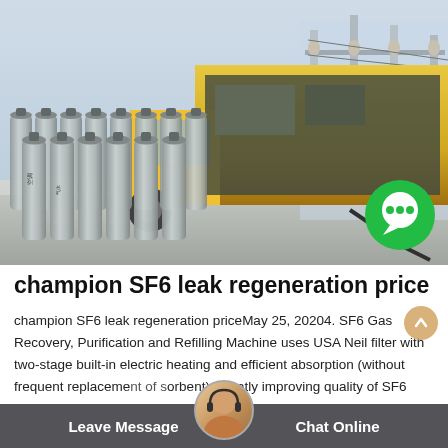[Figure (photo): Outdoor industrial scene showing rows of large gray SF6 gas cylinders arranged on concrete ground in front of a yellow service truck/vehicle, with high-voltage power substation equipment visible on the right side. A green chat bubble icon is overlaid in the bottom-right corner of the photo.]
champion SF6 leak regeneration price
champion SF6 leak regeneration priceMay 25, 20204. SF6 Gas Recovery, Purification and Refilling Machine uses USA Neil filter with two-stage built-in electric heating and efficient absorption (without frequent replacement of sorbent), greatly improving quality of SF6 gas. 5. The latest patented SF6 special instruments